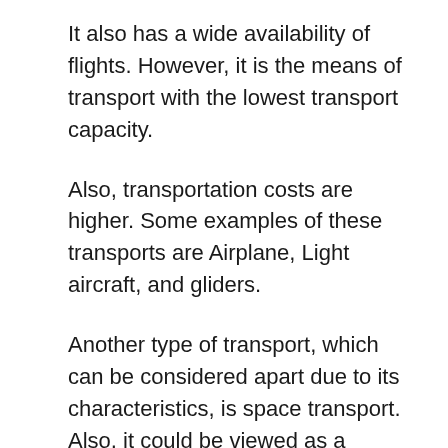It also has a wide availability of flights. However, it is the means of transport with the lowest transport capacity.
Also, transportation costs are higher. Some examples of these transports are Airplane, Light aircraft, and gliders.
Another type of transport, which can be considered apart due to its characteristics, is space transport. Also, it could be viewed as a subsection of air transport. This group includes the spacecraft, the rocket, and the shuttle.